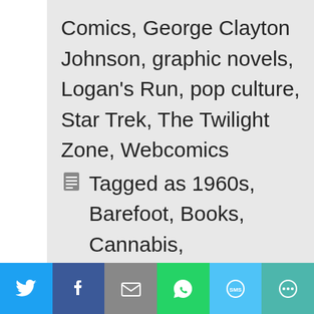Comics, George Clayton Johnson, graphic novels, Logan's Run, pop culture, Star Trek, The Twilight Zone, Webcomics
Tagged as 1960s, Barefoot, Books, Cannabis,